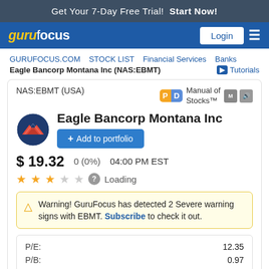Get Your 7-Day Free Trial!  Start Now!
[Figure (logo): GuruFocus navigation bar with logo, Login button, and menu icon]
GURUFOCUS.COM  STOCK LIST  Financial Services  Banks
Eagle Bancorp Montana Inc (NAS:EBMT)   Tutorials
NAS:EBMT (USA)   Manual of Stocks™
Eagle Bancorp Montana Inc
+ Add to portfolio
$ 19.32 0 (0%)   04:00 PM EST
★★★☆☆  Loading
Warning! GuruFocus has detected 2 Severe warning signs with EBMT. Subscribe to check it out.
|  |  |
| --- | --- |
| P/E: | 12.35 |
| P/B: | 0.97 |